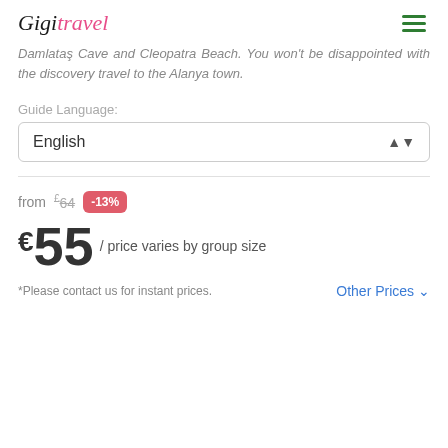Gigi Travel (logo) + hamburger menu
...Damlataş Cave and Cleopatra Beach. You won't be disappointed with the discovery travel to the Alanya town.
Guide Language:
English
from £64 -13%
€55 / price varies by group size
*Please contact us for instant prices.
Other Prices